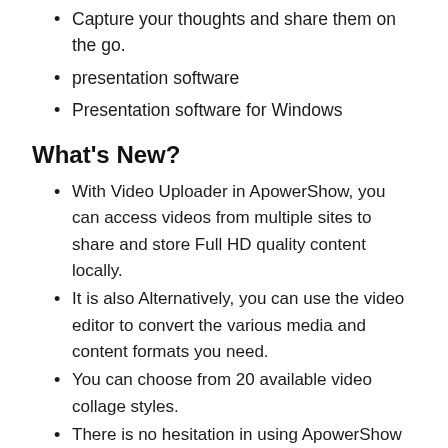Capture your thoughts and share them on the go.
presentation software
Presentation software for Windows
What's New?
With Video Uploader in ApowerShow, you can access videos from multiple sites to share and store Full HD quality content locally.
It is also Alternatively, you can use the video editor to convert the various media and content formats you need.
You can choose from 20 available video collage styles.
There is no hesitation in using ApowerShow as it is an easy to use video recorder that gives the best results.
You can turn your videos and photos into great